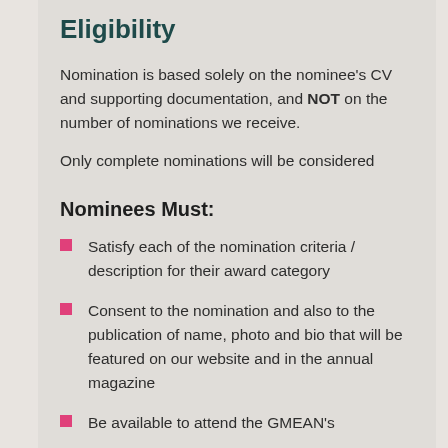Eligibility
Nomination is based solely on the nominee's CV and supporting documentation, and NOT on the number of nominations we receive.
Only complete nominations will be considered
Nominees Must:
Satisfy each of the nomination criteria / description for their award category
Consent to the nomination and also to the publication of name, photo and bio that will be featured on our website and in the annual magazine
Be available to attend the GMEAN's